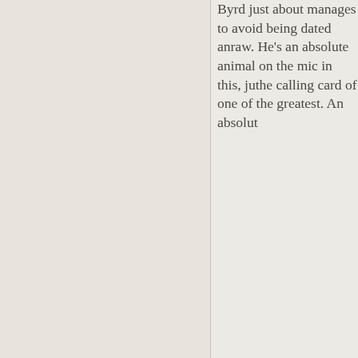Byrd just about manages to avoid being dated and raw. He's an absolute animal on the mic in this, just the calling card of one of the greatest. An absolut…